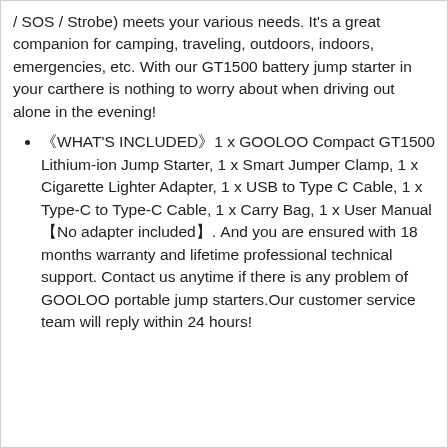/ SOS / Strobe) meets your various needs. It's a great companion for camping, traveling, outdoors, indoors, emergencies, etc. With our GT1500 battery jump starter in your car­there is nothing to worry about when driving out alone in the evening!
《WHAT'S INCLUDED》1 x GOOLOO Compact GT1500 Lithium-ion Jump Starter, 1 x Smart Jumper Clamp, 1 x Cigarette Lighter Adapter, 1 x USB to Type C Cable, 1 x Type-C to Type-C Cable, 1 x Carry Bag, 1 x User Manual【No adapter included】. And you are ensured with 18 months warranty and lifetime professional technical support. Contact us anytime if there is any problem of GOOLOO portable jump starters.Our customer service team will reply within 24 hours!